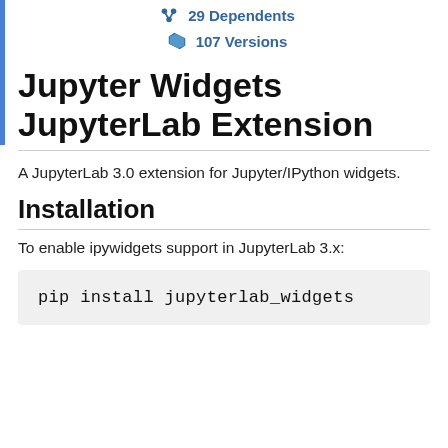29 Dependents
107 Versions
Jupyter Widgets JupyterLab Extension
A JupyterLab 3.0 extension for Jupyter/IPython widgets.
Installation
To enable ipywidgets support in JupyterLab 3.x:
pip install jupyterlab_widgets